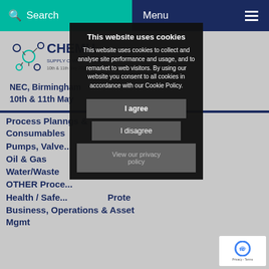Search | Menu
[Figure (logo): CHEMUS Supply Chain + Process logo with molecular graphic]
NEC, Birmingham
10th & 11th May
Process Plan... ings & Consumables
Pumps, Valve...
Oil & Gas
Water/Waste
OTHER Proce...
Health / Safe... Prote
Business, Operations & Asset Mgmt
This website uses cookies

This website uses cookies to collect and analyse site performance and usage, and to remarket to web visitors. By using our website you consent to all cookies in accordance with our Cookie Policy.

I agree

I disagree

View our privacy policy